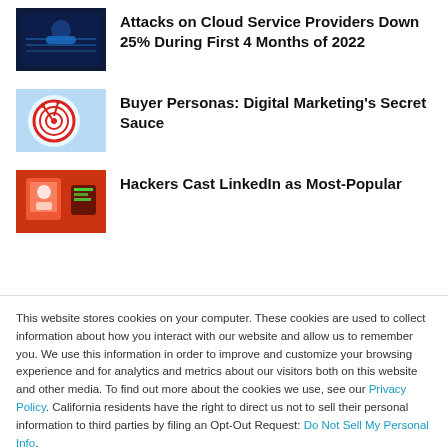Attacks on Cloud Service Providers Down 25% During First 4 Months of 2022
Buyer Personas: Digital Marketing's Secret Sauce
Hackers Cast LinkedIn as Most-Popular
This website stores cookies on your computer. These cookies are used to collect information about how you interact with our website and allow us to remember you. We use this information in order to improve and customize your browsing experience and for analytics and metrics about our visitors both on this website and other media. To find out more about the cookies we use, see our Privacy Policy. California residents have the right to direct us not to sell their personal information to third parties by filing an Opt-Out Request: Do Not Sell My Personal Info.